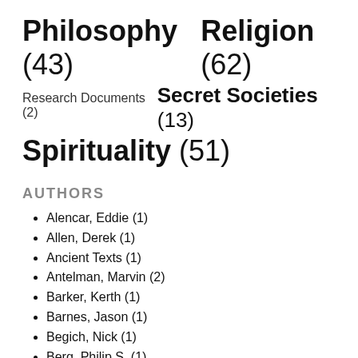Philosophy (43)  Religion (62)  Research Documents (2)  Secret Societies (13)  Spirituality (51)
AUTHORS
Alencar, Eddie (1)
Allen, Derek (1)
Ancient Texts (1)
Antelman, Marvin (2)
Barker, Kerth (1)
Barnes, Jason (1)
Begich, Nick (1)
Berg, Philip S. (1)
Bernard, Raymond (1)
Beyer, Stephan (1)
Blavatsky, H.P. (4)